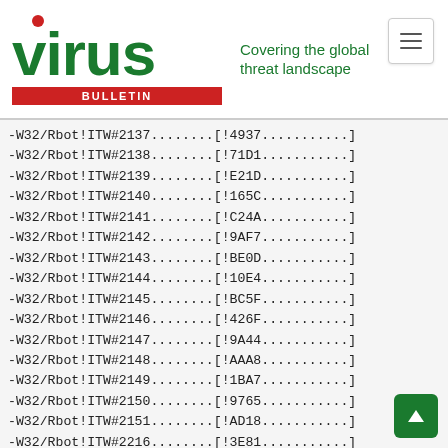Virus Bulletin — Covering the global threat landscape
-W32/Rbot!ITW#2137........[!4937...........]
-W32/Rbot!ITW#2138........[!71D1...........]
-W32/Rbot!ITW#2139........[!E21D...........]
-W32/Rbot!ITW#2140........[!165C...........]
-W32/Rbot!ITW#2141........[!C24A...........]
-W32/Rbot!ITW#2142........[!9AF7...........]
-W32/Rbot!ITW#2143........[!BE0D...........]
-W32/Rbot!ITW#2144........[!10E4...........]
-W32/Rbot!ITW#2145........[!BC5F...........]
-W32/Rbot!ITW#2146........[!426F...........]
-W32/Rbot!ITW#2147........[!9A44...........]
-W32/Rbot!ITW#2148........[!AAA8...........]
-W32/Rbot!ITW#2149........[!1BA7...........]
-W32/Rbot!ITW#2150........[!9765...........]
-W32/Rbot!ITW#2151........[!AD18...........]
-W32/Rbot!ITW#2216........[!3E81...........]
-W32/Rbot!ITW#2217........[!59AC...........]
-W32/Reper!ITW#1..........[!8098...........]